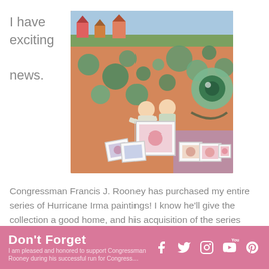I have exciting news.
[Figure (photo): Two people standing in front of a large colorful mural of a fish, holding framed artwork. Several more framed artworks are displayed on the ground in front of them.]
Congressman Francis J. Rooney has purchased my entire series of Hurricane Irma paintings! I know he'll give the collection a good home, and his acquisition of the series gives me the opportunity to help the South Florida Red Cross during this time when so many of our family and friends continue to recover from the storm.
Don't Forget  [social media icons: Facebook, Twitter, Instagram, YouTube, Pinterest]  [overlaid text: I am pleased and honored to support Congressman Rooney during his successful run for Congress...]